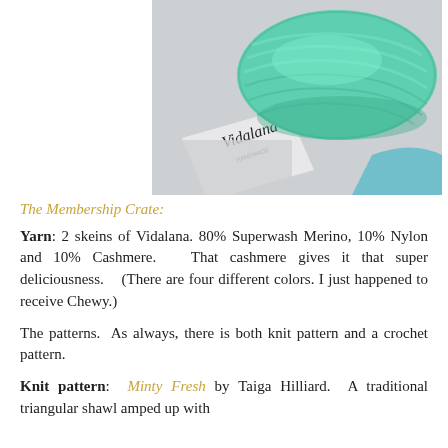[Figure (photo): Photo of mint/aqua colored Vidalana yarn skeins with a white label showing the Vidalana brand name, on a light gray background.]
The Membership Crate:
Yarn: 2 skeins of Vidalana.  80% Superwash Merino, 10% Nylon and 10% Cashmere.   That cashmere gives it that super deliciousness.    (There are four different colors.  I just happened to receive Chewy.)
The patterns.  As always, there is both knit pattern and a crochet pattern.
Knit pattern:  Minty Fresh by Taiga Hilliard.  A traditional triangular shawl amped up with